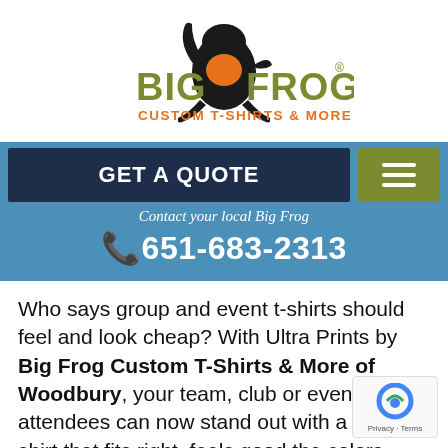[Figure (logo): Big Frog Custom T-Shirts & More logo with frog mascot silhouette wearing an orange shirt]
GET A QUOTE
Contact your local Big Frog
(»)651-683-2313
Who says group and event t-shirts should feel and look cheap? With Ultra Prints by Big Frog Custom T-Shirts & More of Woodbury, your team, club or event attendees can now stand out with a custom shirt that fits right, feels good the colors pop.